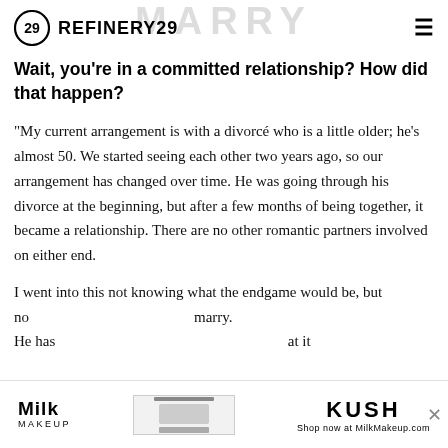REFINERY29
Wait, you're in a committed relationship? How did that happen?
"My current arrangement is with a divorcé who is a little older; he's almost 50. We started seeing each other two years ago, so our arrangement has changed over time. He was going through his divorce at the beginning, but after a few months of being together, it became a relationship. There are no other romantic partners involved on either end.
I went into this not knowing what the endgame would be, but no [text obscured by ad] marry. He has [text obscured by ad] at it
[Figure (other): Advertisement banner for Milk Makeup and KUSH mascara at bottom of page]